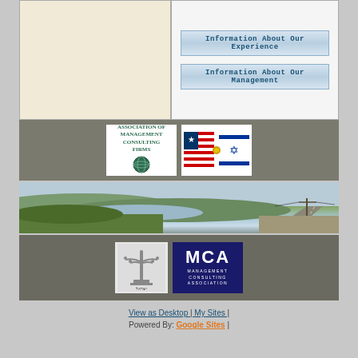[Figure (other): Left panel - beige/cream colored empty panel]
[Figure (other): Right panel with two navigation buttons: 'Information About Our Experience' and 'Information About Our Management']
[Figure (logo): Association of Management Consulting Firms logo with globe icon]
[Figure (photo): Crossed USA and Israel friendship flags pin]
[Figure (photo): Panoramic landscape photo of Israeli countryside with road and utility pole]
[Figure (logo): Israeli Menorah emblem/seal]
[Figure (logo): MCA Management Consulting Association blue logo]
View as Desktop | My Sites | Powered By: Google Sites